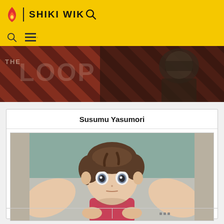SHIKI WIKI
[Figure (illustration): Banner image for 'The Loop' with dark reddish-brown diagonal stripe background and a dark armored figure on the right side]
Susumu Yasumori
[Figure (illustration): Anime screenshot of a young boy with short brown hair, wide eyes, looking slightly worried, wearing a pink/red top, seen from chest up with arms of another person around him, green/teal background]